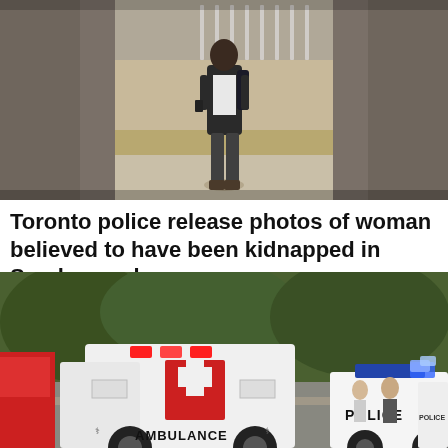[Figure (photo): Surveillance or security camera photo of a woman walking on a sidewalk near a metal fence, wearing a dark jacket over a white t-shirt and dark pants, carrying a backpack, with blurred edges on the left and right sides of the image.]
Toronto police release photos of woman believed to have been kidnapped in Scarborough
[Figure (photo): News scene photo showing an ambulance with red emergency lights on and a police car with blue lights on, parked on a road near a wooded area. The word AMBULANCE is visible on the back of the ambulance and POLICE is written on the side of the cruiser. Two people are visible standing near the police vehicle.]